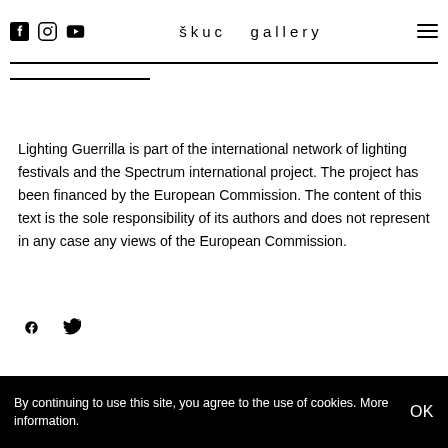škuc gallery
Lighting Guerrilla is part of the international network of lighting festivals and the Spectrum international project. The project has been financed by the European Commission. The content of this text is the sole responsibility of its authors and does not represent in any case any views of the European Commission.
By continuing to use this site, you agree to the use of cookies. More information. OK